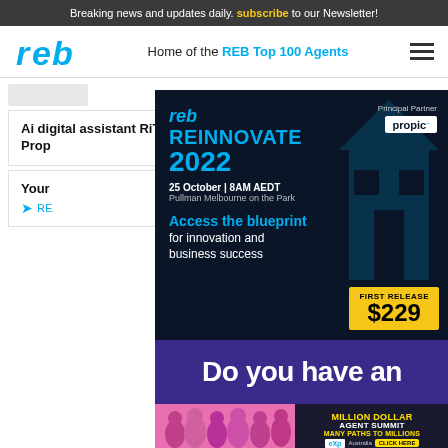Breaking news and updates daily. subscribe to our Newsletter!
[Figure (logo): REB logo — Home of the REB Top 100 Agents navigation bar]
Ai digital assistant RiTA now integrates with Prop...
Your...
[Figure (infographic): REB Reinnovate 2022 conference advertisement overlay. Principal Partner: propic. 25 October | 8AM AEDT, Pullman Melbourne on the Park. Access the blueprint for innovation and business success. First Release $229.]
[Figure (infographic): Do you have an — purple banner advertisement]
[Figure (infographic): Million Dollar Agent Summit 2022 — Many Paths to Millions. eXp Australia. Click Here button. Group photo of people on pink background.]